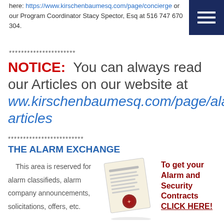here: https://www.kirschenbaumesq.com/page/concierge or our Program Coordinator Stacy Spector, Esq at 516 747 670 304.
**********************
NOTICE: You can always read our Articles on our website at ww.kirschenbaumesq.com/page/alarm articles
*************************
THE ALARM EXCHANGE
This area is reserved for alarm classifieds, alarm company announcements, solicitations, offers, etc.
[Figure (illustration): An illustration of a document/letter with a red wax seal]
To get your Alarm and Security Contracts CLICK HERE!